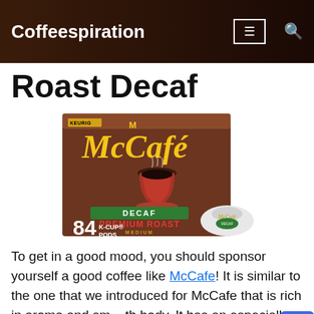Coffeespiration
Roast Decaf
[Figure (photo): McCafe Premium Roast Decaf K-Cup Pods box (84 count) for Keurig, showing the brown box with green DECAF banner, red coffee cup, and a single K-Cup pod beside the box.]
To get in a good mood, you should sponsor yourself a good coffee like McCafe! It is similar to the one that we introduced for McCafe that is rich in aroma and smooth body. It has an especially clean finish. Anyway, this one